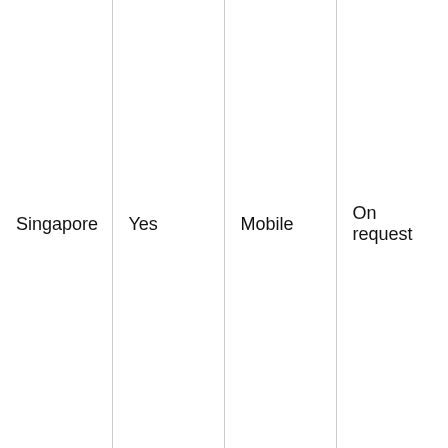| Singapore | Yes | Mobile | On request |